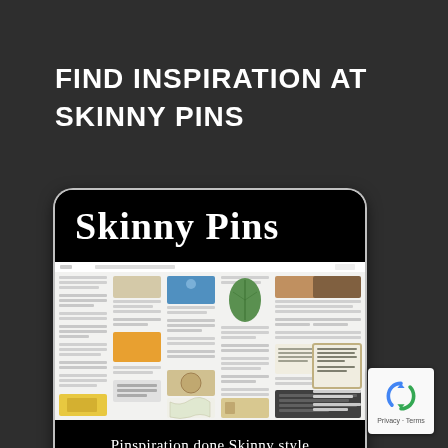FIND INSPIRATION AT SKINNY PINS
[Figure (screenshot): Skinny Pins promotional card with logo text 'Skinny Pins' on black background, a screenshot of the Skinny Pins Pinterest-style website showing a grid of pins/articles, and the tagline 'Pinspiration done Skinny style' at the bottom.]
[Figure (logo): Google reCAPTCHA badge with rotating arrow logo icon, and 'Privacy - Terms' text below.]